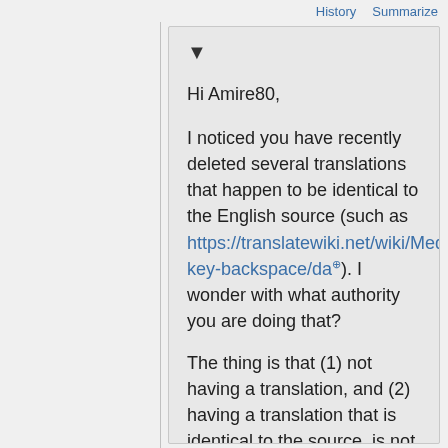History   Summarize
▼
Hi Amire80,
I noticed you have recently deleted several translations that happen to be identical to the English source (such as https://translatewiki.net/wiki/MediaWiki:Visualeditor-key-backspace/da). I wonder with what authority you are doing that?
The thing is that (1) not having a translation, and (2) having a translation that is identical to the source, is not the same situation. When there is a translation, it is stated explicitly that this is in fact the Danish (in this case) translation of the source – which just happens